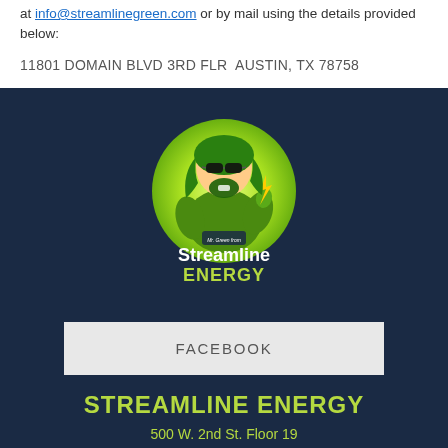at info@streamlinegreen.com or by mail using the details provided below:
11801 DOMAIN BLVD 3RD FLR  AUSTIN, TX 78758
[Figure (logo): Mr. Green from Streamline Energy mascot logo - muscular green-haired figure with sunglasses holding a lightning bolt, on a lime green circular background, with text 'Mr. Green from Streamline ENERGY']
FACEBOOK
STREAMLINE ENERGY
500 W. 2nd St. Floor 19
The Google Building
AUSTIN, TX 78701
service@streamlinegreen.com
833-MR STREAM
Established 2015